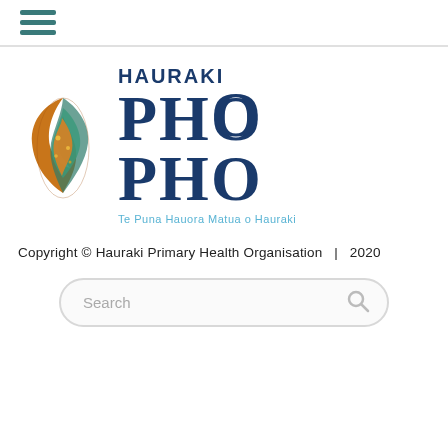Navigation menu icon (hamburger)
[Figure (logo): Hauraki PHO logo with Maori-style decorative emblem on the left and text 'HAURAKI PHO Te Puna Hauora Matua o Hauraki' on the right]
Copyright © Hauraki Primary Health Organisation  |  2020
Search